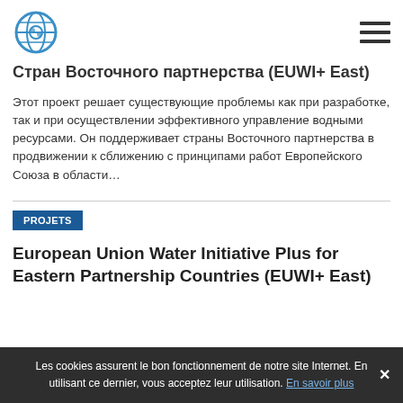Logo and navigation menu
Стран Восточного партнерства (EUWI+ East)
Этот проект решает существующие проблемы как при разработке, так и при осуществлении эффективного управление водными ресурсами. Он поддерживает страны Восточного партнерства в продвижении к сближению с принципами работ Европейского Союза в области…
PROJETS
European Union Water Initiative Plus for Eastern Partnership Countries (EUWI+ East)
Les cookies assurent le bon fonctionnement de notre site Internet. En utilisant ce dernier, vous acceptez leur utilisation. En savoir plus